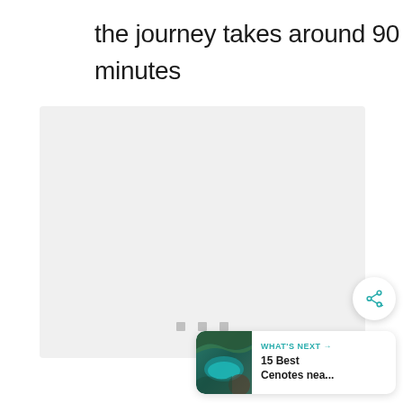the journey takes around 90 minutes
[Figure (photo): Large image placeholder with light gray background and three small gray dots at the bottom center, indicating a loading or empty image slot]
[Figure (infographic): Share button: white circular button with shadow containing a teal share/network icon with a plus symbol]
[Figure (infographic): What's Next card: shows a thumbnail of a cenote (blue-green water with rock/tree), label 'WHAT'S NEXT →', and title '15 Best Cenotes nea...']